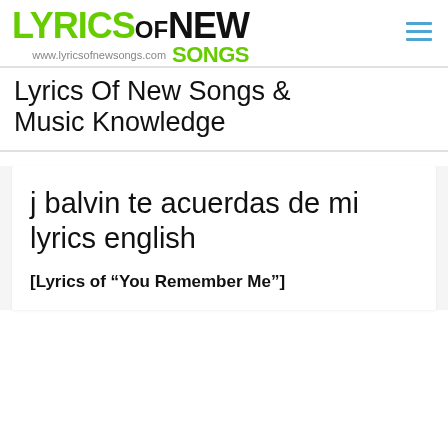LYRICS OF NEW SONGS www.lyricsofnewsongs.com SONGS
Lyrics Of New Songs & Music Knowledge
j balvin te acuerdas de mi lyrics english
[Lyrics of “You Remember Me”]